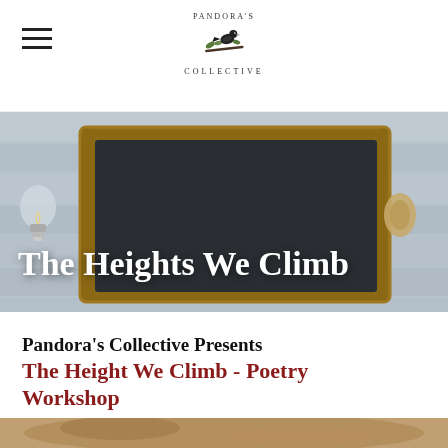PANDORA'S COLLECTIVE
[Figure (photo): Hero banner showing a chalkboard with wooden frame on a rustic white wooden surface with a light bulb visible on the left. The chalkboard has a rope handle on the right side.]
The Heights We Climb
Pandora's Collective Presents The Height We Climb - Poetry Workshop
[Figure (photo): Partial bottom image strip showing a baked item or food on a surface.]